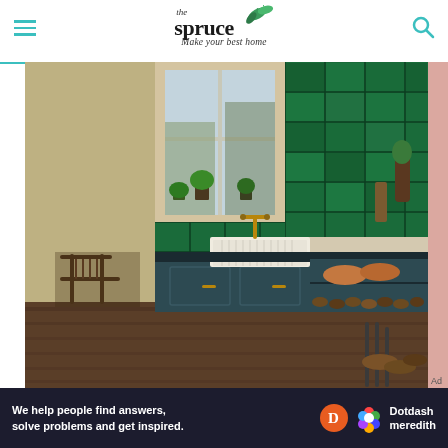[Figure (logo): The Spruce logo with leaf illustration and tagline 'Make your best home']
[Figure (photo): Kitchen interior with dark teal/navy cabinets, white farmhouse sink, emerald green subway tiles on backsplash, brass faucet, potted plants on windowsill, wooden floors, open shelving with terracotta bowls and firewood, Windsor chair visible in background]
Ad
We help people find answers, solve problems and get inspired. Dotdash meredith